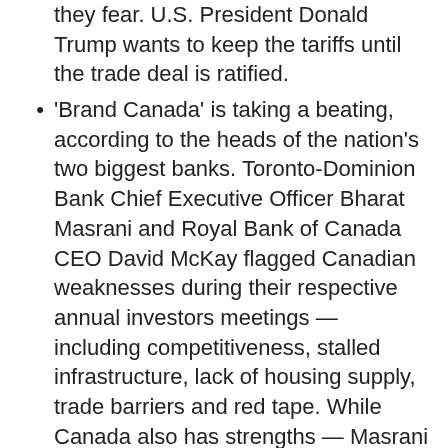they fear. U.S. President Donald Trump wants to keep the tariffs until the trade deal is ratified.
'Brand Canada' is taking a beating, according to the heads of the nation's two biggest banks. Toronto-Dominion Bank Chief Executive Officer Bharat Masrani and Royal Bank of Canada CEO David McKay flagged Canadian weaknesses during their respective annual investors meetings — including competitiveness, stalled infrastructure, lack of housing supply, trade barriers and red tape. While Canada also has strengths — Masrani cited innovation and technology — the bank heads said there are clearly problems to fix.
World Headlines